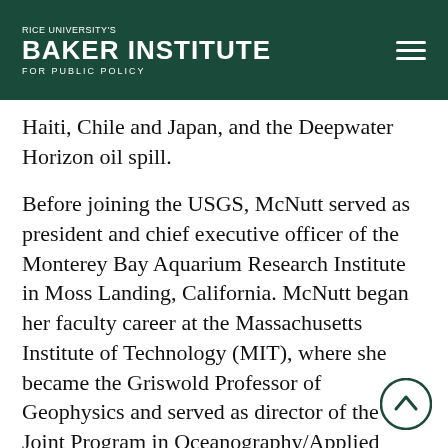Rice University's Baker Institute for Public Policy
Haiti, Chile and Japan, and the Deepwater Horizon oil spill.
Before joining the USGS, McNutt served as president and chief executive officer of the Monterey Bay Aquarium Research Institute in Moss Landing, California. McNutt began her faculty career at the Massachusetts Institute of Technology (MIT), where she became the Griswold Professor of Geophysics and served as director of the Joint Program in Oceanography/Applied Ocean Science & Engineering, a course of study offered by M and the Woods Hole Oceanographic